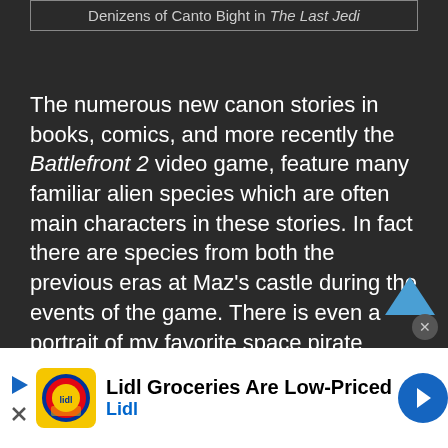Denizens of Canto Bight in The Last Jedi
The numerous new canon stories in books, comics, and more recently the Battlefront 2 video game, feature many familiar alien species which are often main characters in these stories. In fact there are species from both the previous eras at Maz’s castle during the events of the game. There is even a portrait of my favorite space pirate Hondo Ohnaka hung up on the wall in one of the rooms. Shriv Surgaav, a Duros, has
[Figure (other): Lidl advertisement banner with logo, text 'Lidl Groceries Are Low-Priced' and 'Lidl', navigation arrows and close button]